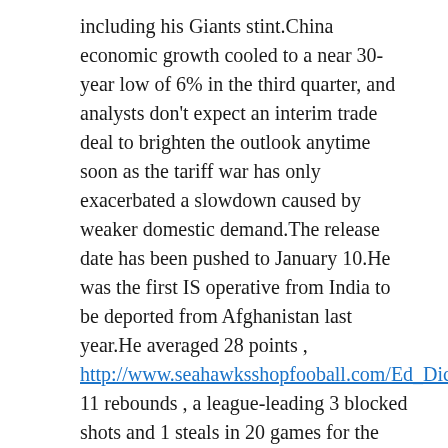including his Giants stint.China economic growth cooled to a near 30-year low of 6% in the third quarter, and analysts don't expect an interim trade deal to brighten the outlook anytime soon as the tariff war has only exacerbated a slowdown caused by weaker domestic demand.The release date has been pushed to January 10.He was the first IS operative from India to be deported from Afghanistan last year.He averaged 28 points , http://www.seahawksshopfooball.com/Ed_Dickson_Jersey 11 rebounds , a league-leading 3 blocked shots and 1 steals in 20 games for the Pelicans, who went 13 when Davis played and 13 overall.